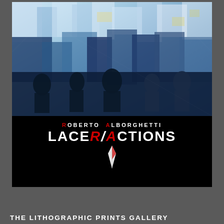[Figure (illustration): Book or exhibition cover for 'LaceR/Actions' by Roberto Alborghetti. Top half shows an abstract expressionist painting in blues, whites, and dark tones resembling an urban crowd scene. Bottom half on black background shows the author name 'ROBERTO ALBORGHETTI' in white bold uppercase with R and A in red, followed by the large stylized title 'LaceR/Actions' in white with R and A in red italic, and a white feather/pen graphic below.]
THE LITHOGRAPHIC PRINTS GALLERY